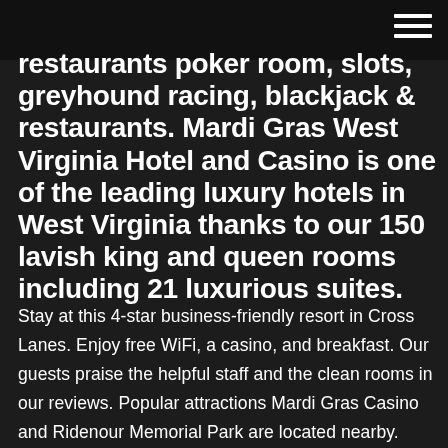[hamburger menu icon]
restaurants poker room, slots, greyhound racing, blackjack & restaurants. Mardi Gras West Virginia Hotel and Casino is one of the leading luxury hotels in West Virginia thanks to our 150 lavish king and queen rooms including 21 luxurious suites.
Stay at this 4-star business-friendly resort in Cross Lanes. Enjoy free WiFi, a casino, and breakfast. Our guests praise the helpful staff and the clean rooms in our reviews. Popular attractions Mardi Gras Casino and Ridenour Memorial Park are located nearby. Discover genuine guest reviews for Mardi Gras Casino & Resort along with the latest prices and availability – book now. - Book great 60 reviews of Mardi Gras Casino & Resort "Yay Dog Racing!